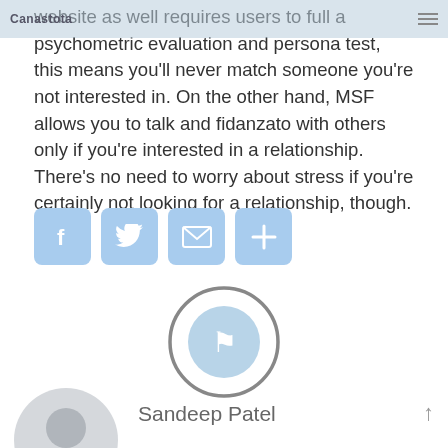website as well requires users to full a psychometric evaluation and persona test, this means you'll never match someone you're not interested in. On the other hand, MSF allows you to talk and fidanzato with others only if you're interested in a relationship. There's no need to worry about stress if you're certainly not looking for a relationship, though.
[Figure (infographic): Four social sharing icon buttons: Facebook (f), Twitter (bird), Email (envelope), and Share/plus (+), each in a light blue rounded square.]
[Figure (infographic): A circular pin/bookmark icon button with a light blue circle in the center and a dark gray ring outline around it.]
[Figure (infographic): A circular gray avatar placeholder silhouette (user icon) partially visible at the bottom left.]
Sandeep Patel